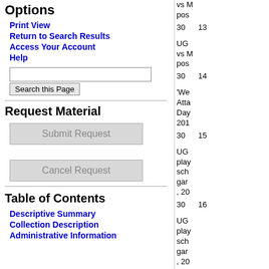Options
Print View
Return to Search Results
Access Your Account
Help
Request Material
Submit Request
Cancel Request
Table of Contents
Descriptive Summary
Collection Description
Administrative Information
| Number | Index | Description |
| --- | --- | --- |
| 30 | 13 | vs M pos |
| 30 | 14 | UG vs M pos |
| 30 | 15 | 'We Atta Day 201 |
| 30 | 16 | UG play sch gar , 20 |
| 30 | 17 | UG play sch gar , 20 |
| 30 | 18 | UG with and of g pos |